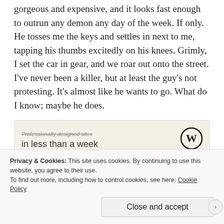gorgeous and expensive, and it looks fast enough to outrun any demon any day of the week. If only. He tosses me the keys and settles in next to me, tapping his thumbs excitedly on his knees. Grimly, I set the car in gear, and we roar out onto the street. I've never been a killer, but at least the guy's not protesting. It's almost like he wants to go. What do I know; maybe he does.
[Figure (other): Advertisement banner with text 'Professionally designed sites in less than a week' and WordPress logo]
Privacy & Cookies: This site uses cookies. By continuing to use this website, you agree to their use. To find out more, including how to control cookies, see here: Cookie Policy
Close and accept